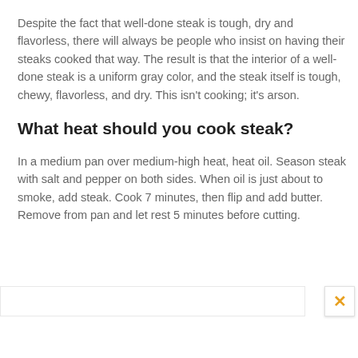Despite the fact that well-done steak is tough, dry and flavorless, there will always be people who insist on having their steaks cooked that way. The result is that the interior of a well-done steak is a uniform gray color, and the steak itself is tough, chewy, flavorless, and dry. This isn't cooking; it's arson.
What heat should you cook steak?
In a medium pan over medium-high heat, heat oil. Season steak with salt and pepper on both sides. When oil is just about to smoke, add steak. Cook 7 minutes, then flip and add butter. Remove from pan and let rest 5 minutes before cutting.